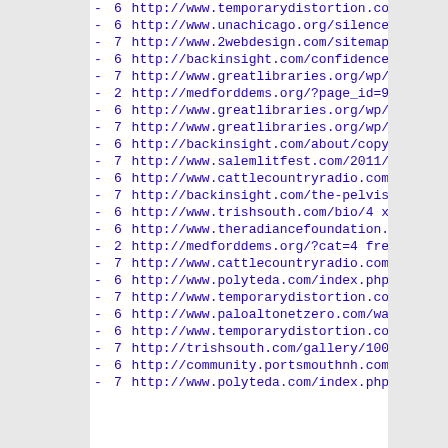- 6 http://www.temporarydistortion.co
- 6 http://www.unachicago.org/silence
- 7 http://www.2webdesign.com/sitemap
- 6 http://backinsight.com/confidence
- 7 http://www.greatlibraries.org/wp/
- 2 http://medforddems.org/?page_id=9
- 6 http://www.greatlibraries.org/wp/
- 7 http://www.greatlibraries.org/wp/
- 6 http://backinsight.com/about/copy
- 7 http://www.salemlitfest.com/2011/
- 6 http://www.cattlecountryradio.com
- 7 http://backinsight.com/the-pelvis
- 6 http://www.trishsouth.com/bio/4 x
- 6 http://www.theradiancefoundation.
- 2 http://medforddems.org/?cat=4 fre
- 7 http://www.cattlecountryradio.com
- 6 http://www.polyteda.com/index.php
- 7 http://www.temporarydistortion.co
- 6 http://www.paloaltonetzero.com/wa
- 6 http://www.temporarydistortion.co
- 7 http://trishsouth.com/gallery/100
- 6 http://community.portsmouthnh.com
- 7 http://www.polyteda.com/index.php